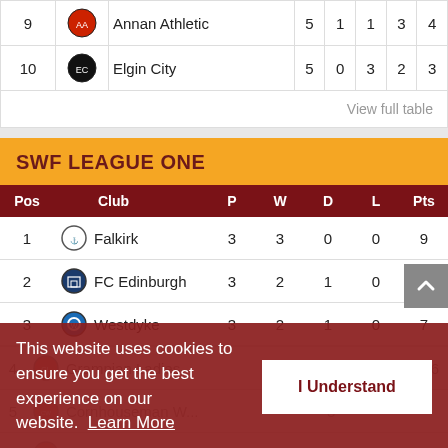| Pos | Club | P | W | D | L | Pts |
| --- | --- | --- | --- | --- | --- | --- |
| 9 | Annan Athletic | 5 | 1 | 1 | 3 | 4 |
| 10 | Elgin City | 5 | 0 | 3 | 2 | 3 |
View full table
SWF LEAGUE ONE
| Pos | Club | P | W | D | L | Pts |
| --- | --- | --- | --- | --- | --- | --- |
| 1 | Falkirk | 3 | 3 | 0 | 0 | 9 |
| 2 | FC Edinburgh | 3 | 2 | 1 | 0 | 7 |
| 3 | Westdyke | 3 | 2 | 1 | 0 | 7 |
| 4 | Grampian Ladies | 3 | 2 | 0 | 1 | 6 |
| 5 | Cornhouseman W... | 3 |  |  |  |  |
| 6 | Edinburgh Caledonia | 3 | 1 | 1 | 1 | 4 |
This website uses cookies to ensure you get the best experience on our website. Learn More